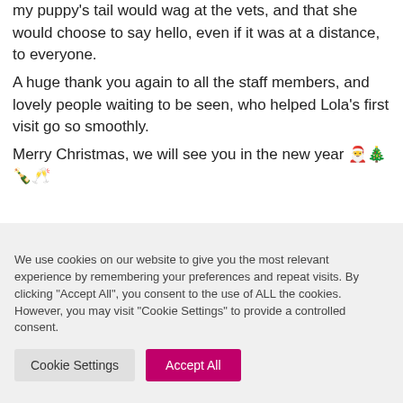my puppy's tail would wag at the vets, and that she would choose to say hello, even if it was at a distance, to everyone.
A huge thank you again to all the staff members, and lovely people waiting to be seen, who helped Lola's first visit go so smoothly.
Merry Christmas, we will see you in the new year 🎅🎄🍾🥂
We use cookies on our website to give you the most relevant experience by remembering your preferences and repeat visits. By clicking "Accept All", you consent to the use of ALL the cookies. However, you may visit "Cookie Settings" to provide a controlled consent.